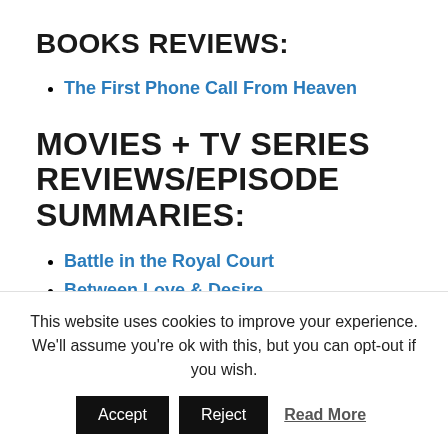BOOKS REVIEWS:
The First Phone Call From Heaven
MOVIES + TV SERIES REVIEWS/EPISODE SUMMARIES:
Battle in the Royal Court
Between Love & Desire
Love In Penghu – 19-20 END
The Two of Us
This website uses cookies to improve your experience. We'll assume you're ok with this, but you can opt-out if you wish.